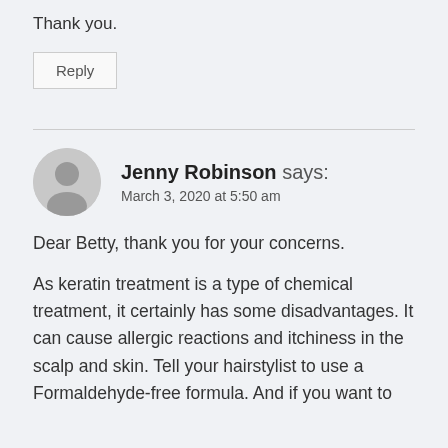Thank you.
Reply
Jenny Robinson says:
March 3, 2020 at 5:50 am
Dear Betty, thank you for your concerns.
As keratin treatment is a type of chemical treatment, it certainly has some disadvantages. It can cause allergic reactions and itchiness in the scalp and skin. Tell your hairstylist to use a Formaldehyde-free formula. And if you want to